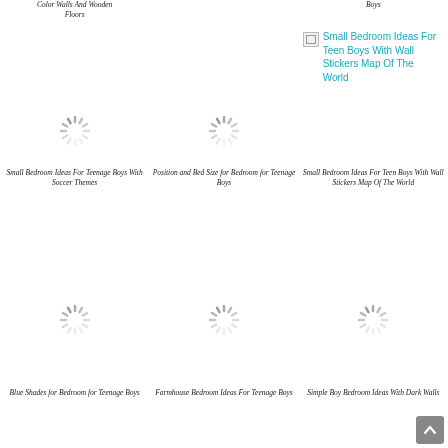Color Walls And Wooden Floors
Boys
[Figure (illustration): Loading spinner icon - Small Bedroom Ideas For Teenage Boys With Soccer Themes]
[Figure (illustration): Loading spinner icon - Position and Bed Size for Bedroom for Teenage Boys]
[Figure (photo): Small Bedroom Ideas For Teen Boys With Wall Stickers Map Of The World - broken image thumbnail with cyan text link]
Small Bedroom Ideas For Teenage Boys With Soccer Themes
Position and Bed Size for Bedroom for Teenage Boys
Small Bedroom Ideas For Teen Boys With Wall Stickers Map Of The World
[Figure (illustration): Loading spinner icon - Blue Shades for Bedroom for Teenage Boys]
[Figure (illustration): Loading spinner icon - Farmhouse Bedroom Ideas For Teenage Boys]
[Figure (illustration): Loading spinner icon - Simple Boy Bedroom Ideas With Dark Walls]
Blue Shades for Bedroom for Teenage Boys
Farmhouse Bedroom Ideas For Teenage Boys
Simple Boy Bedroom Ideas With Dark Walls